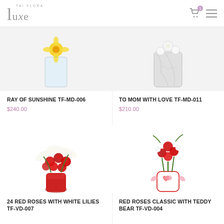TAI FLORA luxe
[Figure (photo): Partial view of Ray of Sunshine flower arrangement in glass vase with yellow flower]
RAY OF SUNSHINE TF-MD-006
$240.00
[Figure (photo): Partial view of To Mom With Love flower arrangement in marble-patterned vase]
TO MOM WITH LOVE TF-MD-011
$210.00
[Figure (photo): 24 Red Roses with White Lilies arrangement in red vase]
24 RED ROSES WITH WHITE LILIES TF-VD-007
[Figure (photo): Red Roses Classic with Teddy Bear arrangement in decorated vase with pink bow]
RED ROSES CLASSIC WITH TEDDY BEAR TF-VD-004